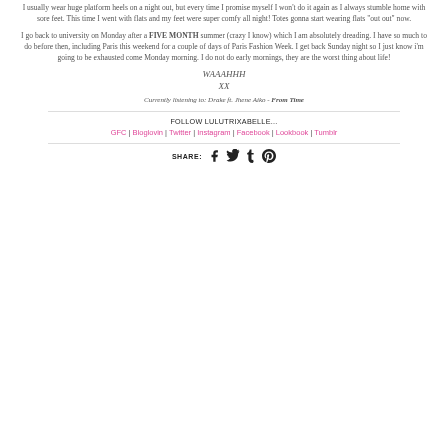I usually wear huge platform heels on a night out, but every time I promise myself I won't do it again as I always stumble home with sore feet. This time I went with flats and my feet were super comfy all night! Totes gonna start wearing flats "out out" now.
I go back to university on Monday after a FIVE MONTH summer (crazy I know) which I am absolutely dreading. I have so much to do before then, including Paris this weekend for a couple of days of Paris Fashion Week. I get back Sunday night so I just know i'm going to be exhausted come Monday morning. I do not do early mornings, they are the worst thing about life!
WAAAHHH
XX
Currently listening to: Drake ft. Jhene Aiko - From Time
FOLLOW LULUTRIXABELLE...
GFC | Bloglovin | Twitter | Instagram | Facebook | Lookbook | Tumblr
SHARE: